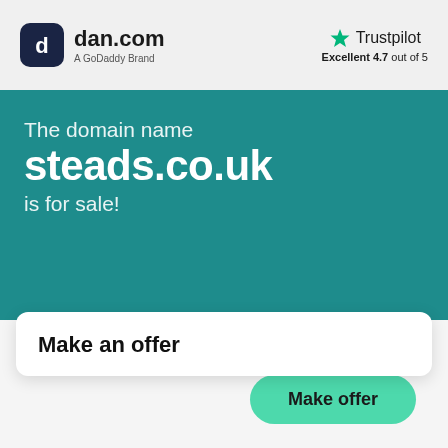[Figure (logo): dan.com logo with dark rounded square icon and text 'dan.com / A GoDaddy Brand']
[Figure (logo): Trustpilot logo with green star, text 'Trustpilot', and rating 'Excellent 4.7 out of 5']
The domain name
steads.co.uk
is for sale!
Make an offer
Make offer